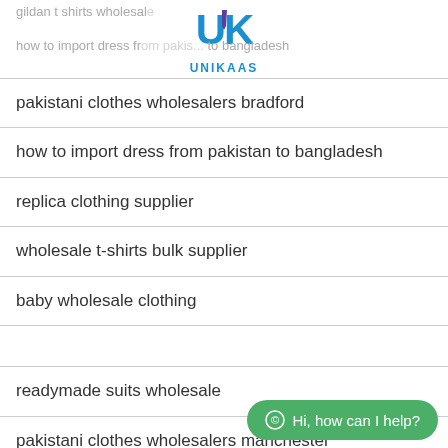gildan t shirts wholesale
[Figure (logo): UNIKAAS logo with blue stylized UK letters and a tie, with 'UNIKAAS' text below]
how to import dress from pakistan to bangladesh
pakistani clothes wholesalers bradford
how to import dress from pakistan to bangladesh
replica clothing supplier
wholesale t-shirts bulk supplier
baby wholesale clothing
readymade suits wholesale
pakistani clothes wholesalers manchester
ready made pakistani clothes bi...
plain hoodies wholesale